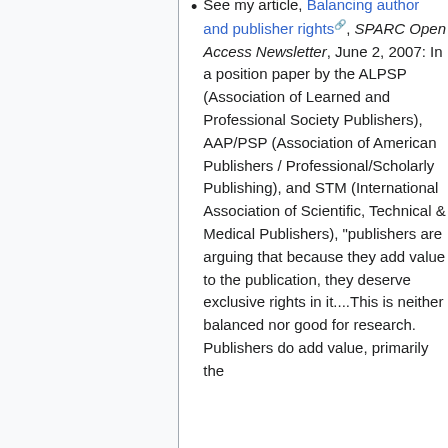See my article, Balancing author and publisher rights, SPARC Open Access Newsletter, June 2, 2007: In a position paper by the ALPSP (Association of Learned and Professional Society Publishers), AAP/PSP (Association of American Publishers / Professional/Scholarly Publishing), and STM (International Association of Scientific, Technical & Medical Publishers), "publishers are arguing that because they add value to the publication, they deserve exclusive rights in it....This is neither balanced nor good for research. Publishers do add value, primarily the